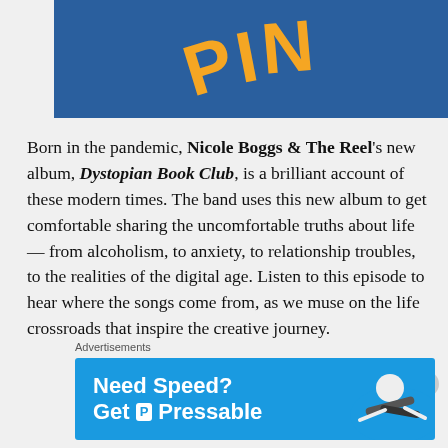[Figure (illustration): Album cover / logo image showing stylized orange letters 'PIN' on a dark blue background, letters appear tilted and curved]
Born in the pandemic, Nicole Boggs & The Reel's new album, Dystopian Book Club, is a brilliant account of these modern times. The band uses this new album to get comfortable sharing the uncomfortable truths about life — from alcoholism, to anxiety, to relationship troubles, to the realities of the digital age. Listen to this episode to hear where the songs come from, as we muse on the life crossroads that inspire the creative journey.
Advertisements
[Figure (screenshot): Advertisement banner: 'Need Speed? Get P Pressable' on blue background with image of person flying/running on the right side]